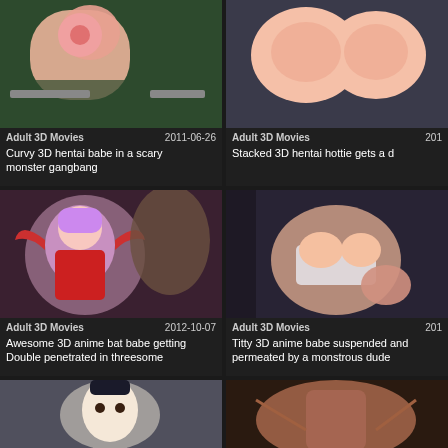[Figure (illustration): 3D animated hentai image - curvy female figure with monster]
Adult 3D Movies  2011-06-26
Curvy 3D hentai babe in a scary monster gangbang
[Figure (illustration): 3D animated hentai image - stacked female figure close up]
Adult 3D Movies  201
Stacked 3D hentai hottie gets a d
[Figure (illustration): 3D anime bat girl with purple hair in red outfit with male figure]
Adult 3D Movies  2012-10-07
Awesome 3D anime bat babe getting Double penetrated in threesome
[Figure (illustration): 3D anime female figure in white lingerie with dark figure]
Adult 3D Movies  201
Titty 3D anime babe suspended and permeated by a monstrous dude
[Figure (illustration): 3D anime female figure with dark hair and white headband]
[Figure (illustration): 3D animated female figure tied up]